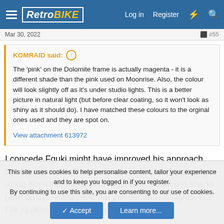RetroBIKE — Log in Register
Mar 30, 2022   #55
KOMRAID said: ↑
The 'pink' on the Dolomite frame is actually magenta - it is a different shade than the pink used on Moonrise. Also, the colour will look slightly off as it's under studio lights. This is a better picture in natural light (but before clear coating, so it won't look as shiny as it should do). I have matched these colours to the orginal ones used and they are spot on.

View attachment 613972
I concede Fguki might have improved his approach, but the point is solid—the magenta on resprays, even using Klein's old stock of magenta is a different shade (and opaque-ness) and not just because of lights. But I've spoken with solid re-sprayers
This site uses cookies to help personalise content, tailor your experience and to keep you logged in if you register.
By continuing to use this site, you are consenting to our use of cookies.